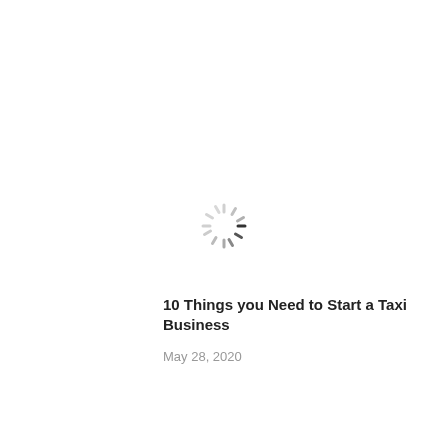[Figure (other): A loading spinner icon (circular spinner with radiating dashes, partially dark at the right side) centered in the upper-middle portion of the page]
10 Things you Need to Start a Taxi Business
May 28, 2020